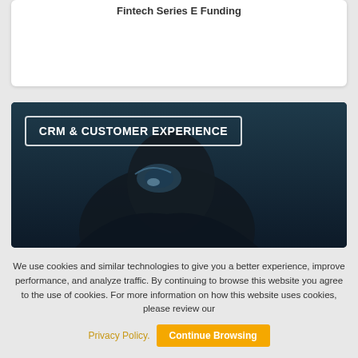Fintech Series E Funding
[Figure (photo): Dark atmospheric photo of a person's profile with sunglasses reflecting light, against a dark blue/teal background, with overlay label reading CRM & CUSTOMER EXPERIENCE in white text inside a bordered box]
We use cookies and similar technologies to give you a better experience, improve performance, and analyze traffic. By continuing to browse this website you agree to the use of cookies. For more information on how this website uses cookies, please review our
Privacy Policy. Continue Browsing